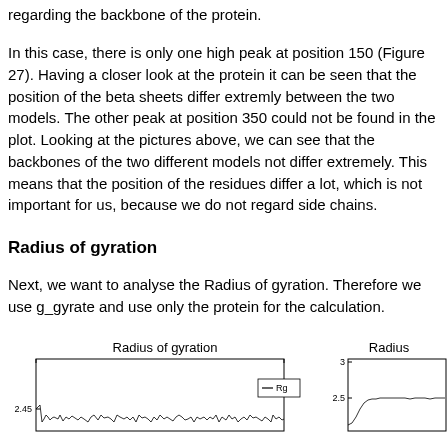regarding the backbone of the protein.
In this case, there is only one high peak at position 150 (Figure 27). Having a closer look at the protein it can be seen that the position of the beta sheets differ extremly between the two models. The other peak at position 350 could not be found in the plot. Looking at the pictures above, we can see that the backbones of the two different models not differ extremely. This means that the position of the residues differ a lot, which is not important for us, because we do not regard side chains.
Radius of gyration
Next, we want to analyse the Radius of gyration. Therefore we use g_gyrate and use only the protein for the calculation.
[Figure (continuous-plot): Radius of gyration plot (left, partially visible) showing Rg over time, with y-axis value 2.45 visible and a legend showing Rg. The plot shows fluctuating line data.]
[Figure (continuous-plot): Radius of gyration plot (right, partially visible) showing y-axis values 3 and 2.5, with a mostly flat line that slightly increases then levels off.]